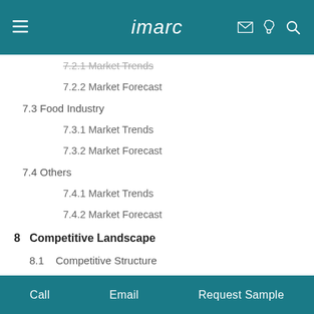imarc
7.2.1 Market Trends
7.2.2 Market Forecast
7.3 Food Industry
7.3.1 Market Trends
7.3.2 Market Forecast
7.4 Others
7.4.1 Market Trends
7.4.2 Market Forecast
8  Competitive Landscape
8.1    Competitive Structure
8.2    Key Manufacturers
8.3    Profiles of Key Players
Call   Email   Request Sample